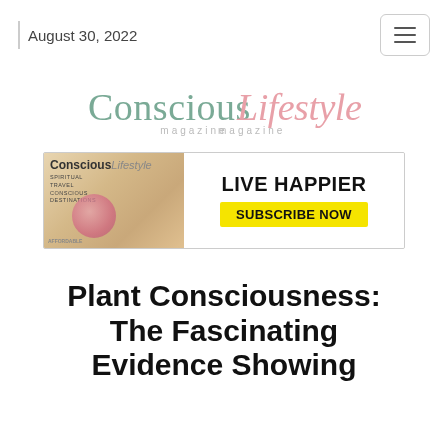August 30, 2022
[Figure (logo): Conscious Lifestyle magazine logo — 'Conscious' in teal/green gradient serif, 'Lifestyle' in pink italic script, 'magazine' in small gray lowercase letters]
[Figure (infographic): Advertisement banner for Conscious Lifestyle magazine subscription. Left side shows magazine cover with text 'SPIRITUAL TRAVEL, CONSCIOUS DESTINATIONS'. Right side on white background reads 'LIVE HAPPIER' in bold black, and 'SUBSCRIBE NOW' in bold black on a yellow background.]
Plant Consciousness: The Fascinating Evidence Showing